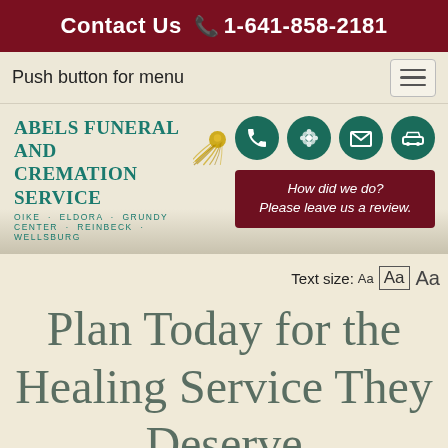Contact Us 1-641-858-2181
Push button for menu
[Figure (logo): Abels Funeral and Cremation Service logo with golden sun/rays graphic and teal text. Tagline: OIKE · ELDORA · GRUNDY CENTER · REINBECK · WELLSBURG. Four teal icon circles (phone, flower/settings, mail, car). Dark red review button: 'How did we do? Please leave us a review.']
Text size: Aa  Aa  Aa
Plan Today for the Healing Service They Deserve